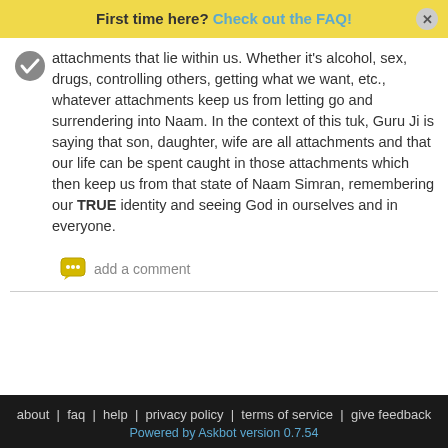First time here? Check out the FAQ!
attachments that lie within us. Whether it's alcohol, sex, drugs, controlling others, getting what we want, etc., whatever attachments keep us from letting go and surrendering into Naam. In the context of this tuk, Guru Ji is saying that son, daughter, wife are all attachments and that our life can be spent caught in those attachments which then keep us from that state of Naam Simran, remembering our TRUE identity and seeing God in ourselves and in everyone.
add a comment
about | faq | help | privacy policy | terms of service | give feedback
Powered by Askbot version 0.7.54